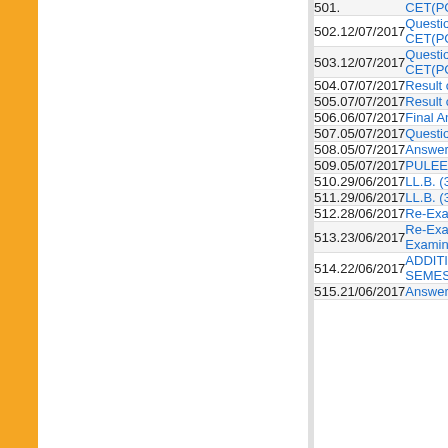| No. | Date | Title |
| --- | --- | --- |
| 501. |  | CET(PG) - 2 |
| 502. | 12/07/2017 | Question Bo... CET(PG) - 2 |
| 503. | 12/07/2017 | Question Bo... CET(PG) - 2 |
| 504. | 07/07/2017 | Result of PU... |
| 505. | 07/07/2017 | Result of LL.... |
| 506. | 06/07/2017 | Final Answe... |
| 507. | 05/07/2017 | Question Bo... |
| 508. | 05/07/2017 | Answer Key |
| 509. | 05/07/2017 | PULEET - 20... |
| 510. | 29/06/2017 | LL.B. (3 Yea... |
| 511. | 29/06/2017 | LL.B. (3 Yea... |
| 512. | 28/06/2017 | Re-Examina... |
| 513. | 23/06/2017 | Re-Examina... Examination |
| 514. | 22/06/2017 | ADDITION i... SEMESTER |
| 515. | 21/06/2017 | Answer Key |